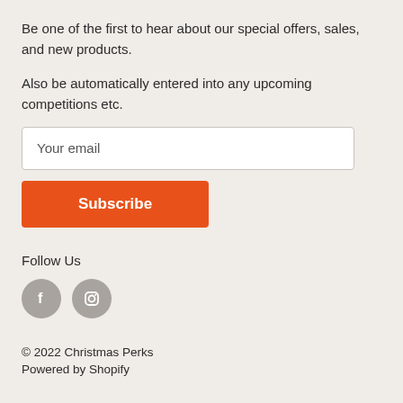Be one of the first to hear about our special offers, sales, and new products.
Also be automatically entered into any upcoming competitions etc.
Your email
Subscribe
Follow Us
[Figure (infographic): Two circular social media icons: Facebook (f) and Instagram (camera), both in grey circles]
© 2022 Christmas Perks
Powered by Shopify